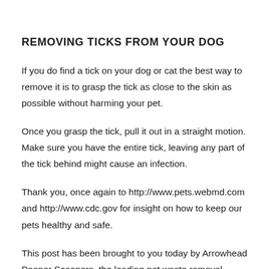REMOVING TICKS FROM YOUR DOG
If you do find a tick on your dog or cat the best way to remove it is to grasp the tick as close to the skin as possible without harming your pet.
Once you grasp the tick, pull it out in a straight motion. Make sure you have the entire tick, leaving any part of the tick behind might cause an infection.
Thank you, once again to http://www.pets.webmd.com and http://www.cdc.gov for insight on how to keep our pets healthy and safe.
This post has been brought to you today by Arrowhead Pooper Scoopers, the leading pet waste removal...